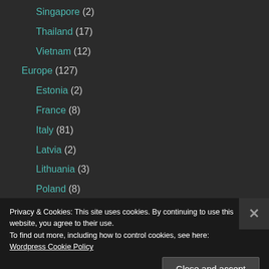Singapore (2)
Thailand (17)
Vietnam (12)
Europe (127)
Estonia (2)
France (8)
Italy (81)
Latvia (2)
Lithuania (3)
Poland (8)
Spain (5)
Privacy & Cookies: This site uses cookies. By continuing to use this website, you agree to their use.
To find out more, including how to control cookies, see here: Wordpress Cookie Policy
Close and accept